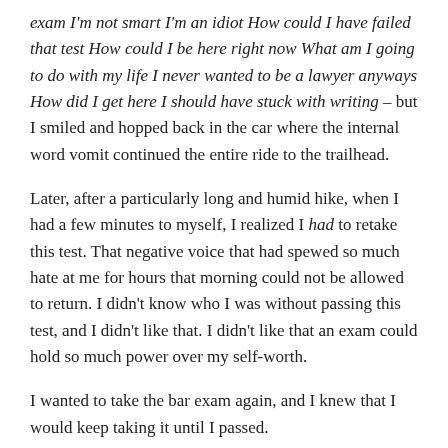exam I'm not smart I'm an idiot How could I have failed that test How could I be here right now What am I going to do with my life I never wanted to be a lawyer anyways How did I get here I should have stuck with writing – but I smiled and hopped back in the car where the internal word vomit continued the entire ride to the trailhead.
Later, after a particularly long and humid hike, when I had a few minutes to myself, I realized I had to retake this test. That negative voice that had spewed so much hate at me for hours that morning could not be allowed to return. I didn't know who I was without passing this test, and I didn't like that. I didn't like that an exam could hold so much power over my self-worth.
I wanted to take the bar exam again, and I knew that I would keep taking it until I passed.
THE BAR EXAM DOES NOT DEFINE YOUR